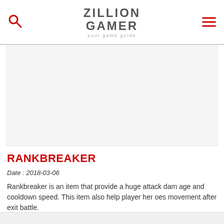ZILLION GAMER — your game guide
[Figure (other): Advertisement or image placeholder block]
RANKBREAKER
Date : 2018-03-06
Rankbreaker is an item that provide a huge attack damage and cooldown speed. This item also help player heroes movement after exit battle.
READ MORE...